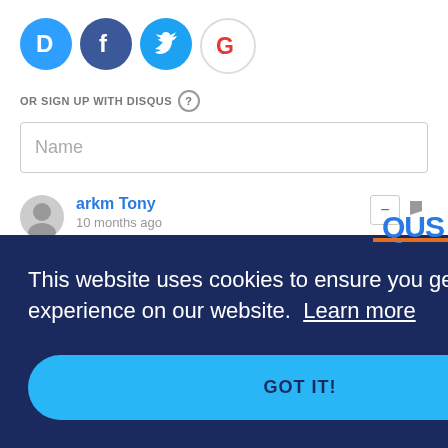[Figure (illustration): Four social login icons in circles: Disqus (blue D), Facebook (dark blue f), Twitter (light blue bird), Google (G with colors)]
OR SIGN UP WITH DISQUS ?
Name
arkm Tony
10 months ago
It looks like an exciting trail. Thank you for sharing this article.
This website uses cookies to ensure you get the best experience on our website. Learn more
GOT IT!